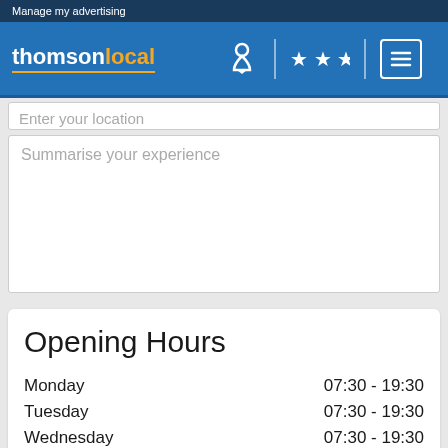Manage my advertising
[Figure (logo): Thomson Local logo with navigation icons (person/location, stars, menu)]
Enter your location
Summarise your experience
Opening Hours
| Day | Hours |
| --- | --- |
| Monday | 07:30 - 19:30 |
| Tuesday | 07:30 - 19:30 |
| Wednesday | 07:30 - 19:30 |
| Thursday | 07:30 - 19:30 |
| Friday | 07:30 - 19:30 |
| Saturday | 07:30 - 19:30 |
| Sunday | 07:30 - 19:30 |
Payments Accepted